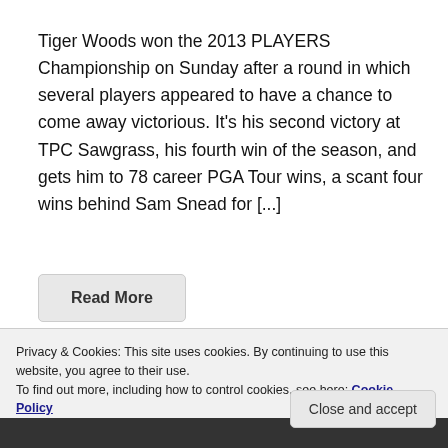Tiger Woods won the 2013 PLAYERS Championship on Sunday after a round in which several players appeared to have a chance to come away victorious. It's his second victory at TPC Sawgrass, his fourth win of the season, and gets him to 78 career PGA Tour wins, a scant four wins behind Sam Snead for [...]
Read More
Privacy & Cookies: This site uses cookies. By continuing to use this website, you agree to their use. To find out more, including how to control cookies, see here: Cookie Policy
Close and accept